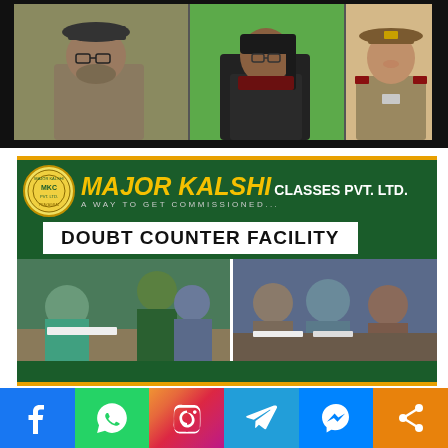[Figure (photo): Three photos: an older man in cap sitting at desk, a woman in dark vest sitting at desk with green background, and a young woman in military uniform]
[Figure (infographic): Major Kalshi Classes Pvt. Ltd. advertisement banner with dark green background, yellow and white text, logo, tagline 'A Way to Get Commissioned...', and 'Doubt Counter Facility' text with photos of students studying with teachers]
[Figure (infographic): Social media share bar with Facebook, WhatsApp, Instagram, Telegram, Messenger, and Share icons]